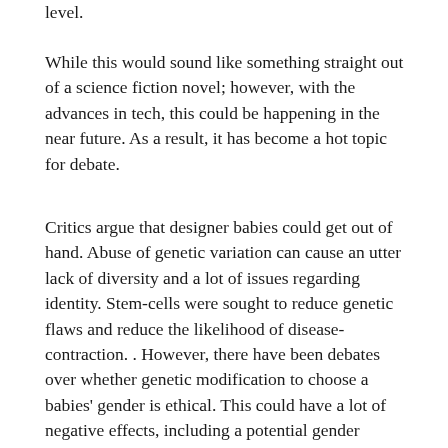level.
While this would sound like something straight out of a science fiction novel; however, with the advances in tech, this could be happening in the near future. As a result, it has become a hot topic for debate.
Critics argue that designer babies could get out of hand. Abuse of genetic variation can cause an utter lack of diversity and a lot of issues regarding identity. Stem-cells were sought to reduce genetic flaws and reduce the likelihood of disease-contraction. . However, there have been debates over whether genetic modification to choose a babies' gender is ethical. This could have a lot of negative effects, including a potential gender  imbalance in the world. One highly publicized case took place in 1996 in which Monique and Scott Collins wanted to have a